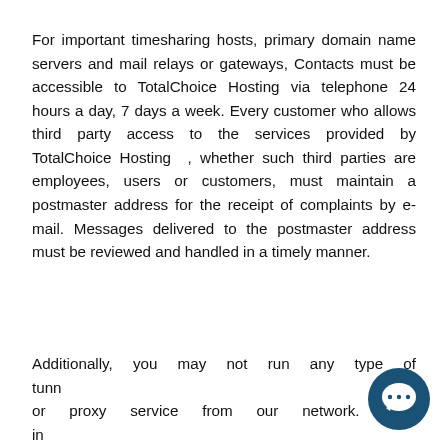For important timesharing hosts, primary domain name servers and mail relays or gateways, Contacts must be accessible to TotalChoice Hosting via telephone 24 hours a day, 7 days a week. Every customer who allows third party access to the services provided by TotalChoice Hosting , whether such third parties are employees, users or customers, must maintain a postmaster address for the receipt of complaints by e-mail. Messages delivered to the postmaster address must be reviewed and handled in a timely manner.
Additionally, you may not run any type of tunneling or proxy service from our network. This includes but is not limited to a http proxy.